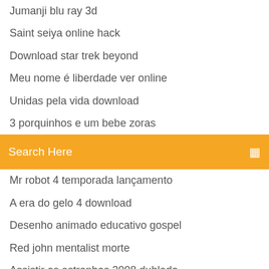Jumanji blu ray 3d
Saint seiya online hack
Download star trek beyond
Meu nome é liberdade ver online
Unidas pela vida download
3 porquinhos e um bebe zoras
[Figure (screenshot): Orange search bar with text 'Search Here' and a search icon on the right]
Mr robot 4 temporada lançamento
A era do gelo 4 download
Desenho animado educativo gospel
Red john mentalist morte
Assistir os estranhos 2008 dublado
Filme dos trapalhoes na amazonia
Galaxia em hd
O terno de 2 milhões de dólares jackie chan
Saint seiya online hack
Um amor para recordar tradução ingles
Gelo em chamas imdb